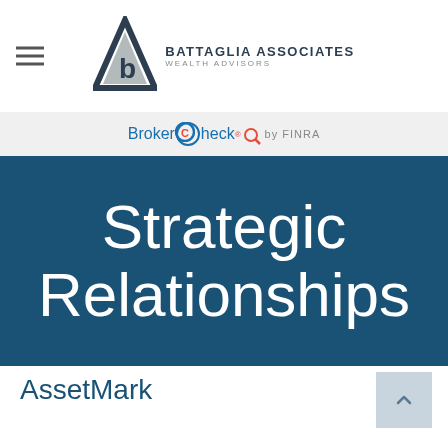Battaglia Associates Wealth Advisors
[Figure (logo): BrokerCheck by FINRA logo in a light gray bar]
Strategic Relationships
AssetMark